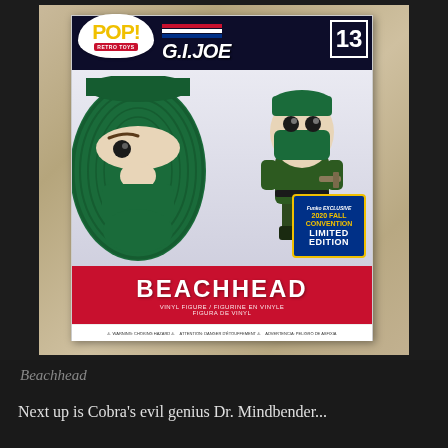[Figure (photo): Funko Pop! Retro Toys G.I. Joe Beachhead #13 vinyl figure in box packaging. 2020 Fall Convention Limited Edition Funko Exclusive. The box shows the Pop! logo in a speech bubble, G.I. Joe branding with red/white/blue stripes, a large graphic of Beachhead's masked face on the left side of the box, and the Funko figure holding a weapon on the right. The bottom red panel reads 'BEACHHEAD VINYL FIGURE / FIGURINE EN VINYLE / FIGURA DE VINYL'. A Funko Exclusive 2020 Fall Convention Limited Edition sticker is visible. The box sits on a wooden surface.]
Beachhead
Next up is Cobra's evil genius Dr. Mindbender...